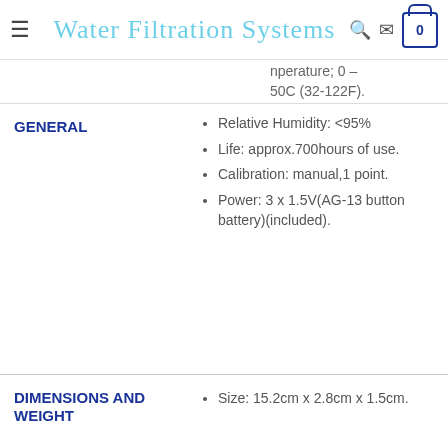Water Filtration Systems
nperature; 0 – 50C (32-122F).
GENERAL
Relative Humidity: <95%
Life: approx.700hours of use.
Calibration: manual,1 point.
Power: 3 x 1.5V(AG-13 button battery)(included).
DIMENSIONS AND WEIGHT
Size: 15.2cm x 2.8cm x 1.5cm.
PACKAGE CONTENTS
1 x Digital PH Meter Tester Pen Aquarium
1 x screw driver.